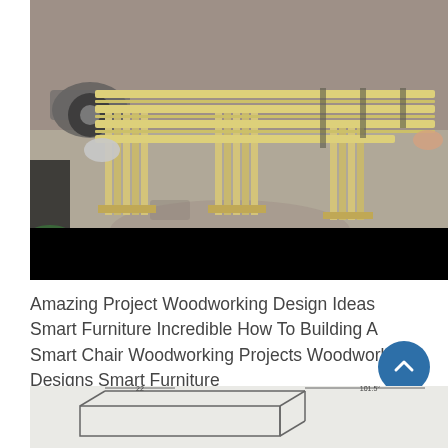[Figure (photo): Two people holding a wooden slatted bench/chair outdoors on concrete ground, with a vehicle visible in background. The furniture piece is made of light-colored wood with parallel slats on top and triangular leg supports.]
Amazing Project Woodworking Design Ideas Smart Furniture Incredible How To Building A Smart Chair Woodworking Projects Woodworking Designs Smart Furniture
[Figure (engineering-diagram): Partial engineering/technical diagram of a furniture piece showing dimensions, visible at the bottom of the page, cut off.]